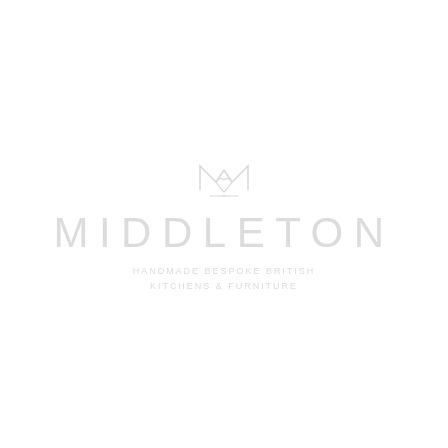[Figure (logo): Middleton brand logo: a stylized M monogram icon in light grey above the word MIDDLETON in wide-spaced light grey capital letters, with tagline HANDMADE BESPOKE BRITISH KITCHENS & FURNITURE below in small spaced uppercase letters. All elements are very light grey on white background.]